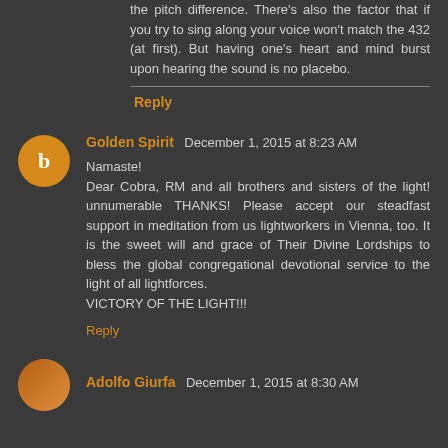the pitch difference. There's also the factor that if you try to sing along your voice won't match the 432 (at first). But having one's heart and mind burst upon hearing the sound is no placebo.
Reply
Golden Spirit  December 1, 2015 at 8:23 AM
Namaste!
Dear Cobra, RM and all brothers and sisters of the light! unnumerable THANKS! Please accept our steadfast support in meditation from us lightworkers in Vienna, too. It is the sweet will and grace of Their Divine Lordships to bless the global congregational devotional service to the light of all lightforces.
VICTORY OF THE LIGHT!!!
Reply
Adolfo Giurfa  December 1, 2015 at 8:30 AM